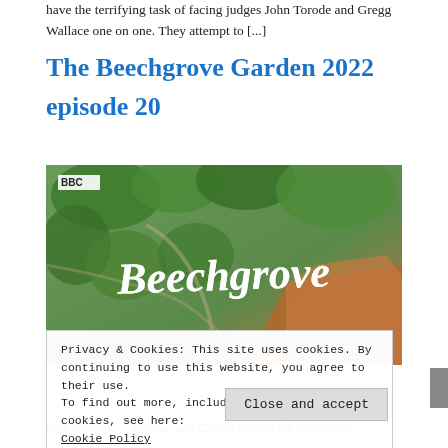have the terrifying task of facing judges John Torode and Gregg Wallace one on one. They attempt to [...]
The Beechgrove Garden 2022 episode 20
[Figure (screenshot): Aerial screenshot of Beechgrove Garden show title card with 'Beechgrove' in large white script font overlaid on an aerial view of green trees and gardens, with BBC logo in top left corner.]
Privacy & Cookies: This site uses cookies. By continuing to use this website, you agree to their use.
To find out more, including how to control cookies, see here:
Cookie Policy
Close and accept
their verdict.     George and Calum review the containers